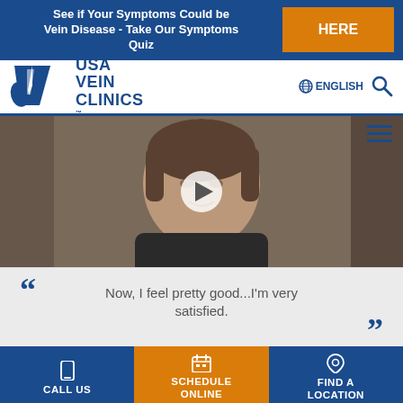See if Your Symptoms Could be Vein Disease - Take Our Symptoms Quiz
HERE
[Figure (logo): USA Vein Clinics logo with blue stylized V and leg icon]
ENGLISH
[Figure (screenshot): Video thumbnail of a middle-aged woman with short dark hair wearing a black jacket, with a play button overlay]
Now, I feel pretty good...I'm very satisfied.
CALL US
SCHEDULE ONLINE
FIND A LOCATION